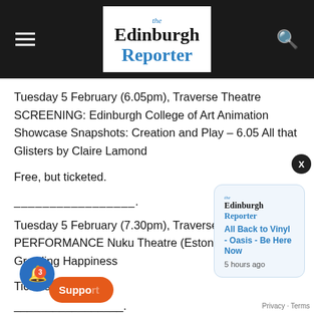The Edinburgh Reporter
Tuesday 5 February (6.05pm), Traverse Theatre SCREENING: Edinburgh College of Art Animation Showcase Snapshots: Creation and Play – 6.05 All that Glisters by Claire Lamond
Free, but ticketed.
_________________.
Tuesday 5 February (7.30pm), Traverse Theatre PERFORMANCE Nuku Theatre (Estonia) A Wild Growling Happiness
Tickets: £15.50
[Figure (screenshot): Notification popup showing Edinburgh Reporter logo and 'All Back to Vinyl - Oasis - Be Here Now' headline with '5 hours ago' timestamp]
_________________.